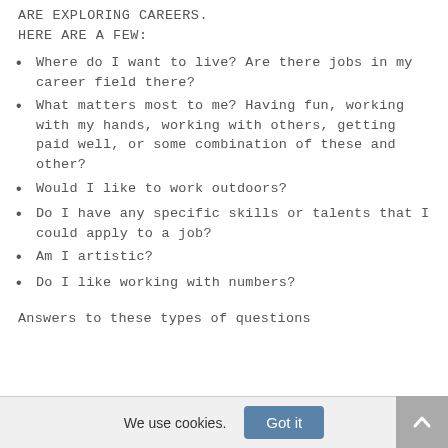ARE EXPLORING CAREERS.
HERE ARE A FEW:
Where do I want to live? Are there jobs in my career field there?
What matters most to me? Having fun, working with my hands, working with others, getting paid well, or some combination of these and other?
Would I like to work outdoors?
Do I have any specific skills or talents that I could apply to a job?
Am I artistic?
Do I like working with numbers?
Answers to these types of questions